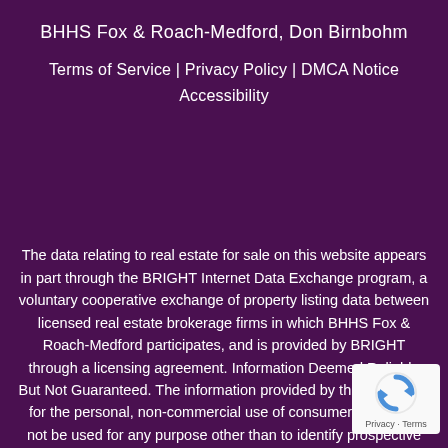BHHS Fox & Roach-Medford, Don Birnbohm
Terms of Service | Privacy Policy | DMCA Notice
Accessibility
The data relating to real estate for sale on this website appears in part through the BRIGHT Internet Data Exchange program, a voluntary cooperative exchange of property listing data between licensed real estate brokerage firms in which BHHS Fox & Roach-Medford participates, and is provided by BRIGHT through a licensing agreement. Information Deemed Reliable But Not Guaranteed. The information provided by this website is for the personal, non-commercial use of consumers and may not be used for any purpose other than to identify prospective properties consumers may be interested in purchasing. Copyright© 2022, BRIGHT, All Rights Reserved. Information updated as of 08/30/2022 03:40 AM.
[Figure (logo): reCAPTCHA badge with circular arrow icon and 'Privacy - Terms' text]